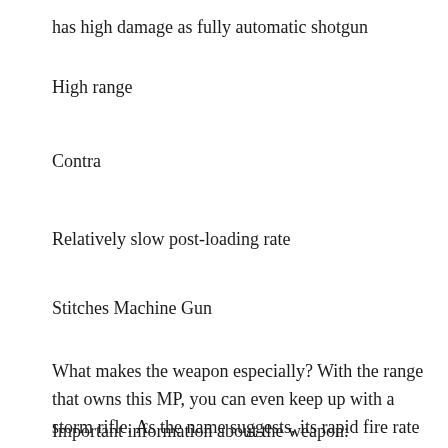has high damage as fully automatic shotgun
High range
Contra
Relatively slow post-loading rate
Stitches Machine Gun
What makes the weapon especially? With the range that owns this MP, you can even keep up with a storm rifle. As the name suggests, its rapid fire rate ensures a stitch through each cover and with its relatively large magazine you are not so fast from the puffs.
Important information about the weapon: